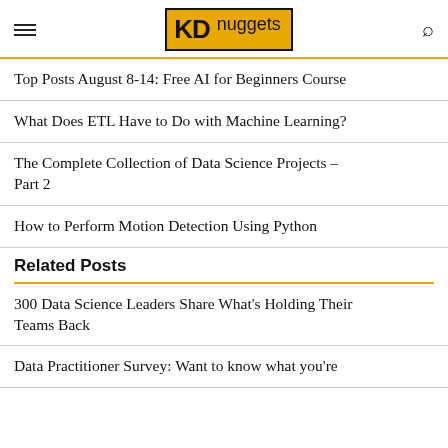KDnuggets
Top Posts August 8-14: Free AI for Beginners Course
What Does ETL Have to Do with Machine Learning?
The Complete Collection of Data Science Projects – Part 2
How to Perform Motion Detection Using Python
Related Posts
300 Data Science Leaders Share What's Holding Their Teams Back
Data Practitioner Survey: Want to know what you're